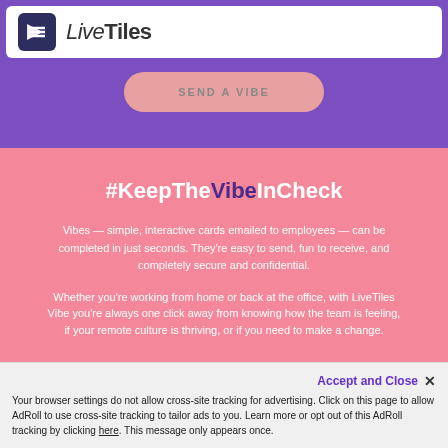LiveTiles
SEND A VIBE
#KeepTheVibeInCheck
Vibes — simple, interactive cards emailed to employees — can be completed in just seconds. They're easy to send, fun to receive, and completely secure and confidential.
Whether you're working from home or back at the office, with LiveTiles Vibe you're always one click away from knowing how the team is feeling, if your remote culture is thriving, or if you need to make a change.
Accept and Close ✕ Your browser settings do not allow cross-site tracking for advertising. Click on this page to allow AdRoll to use cross-site tracking to tailor ads to you. Learn more or opt out of this AdRoll tracking by clicking here. This message only appears once.